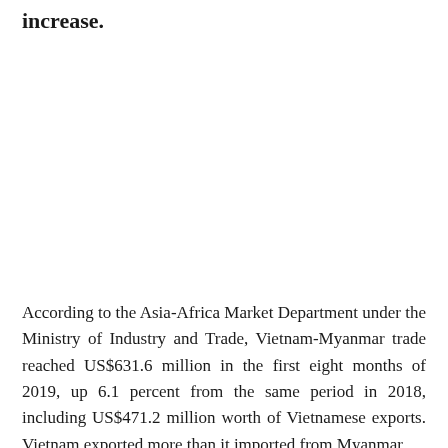increase.
According to the Asia-Africa Market Department under the Ministry of Industry and Trade, Vietnam-Myanmar trade reached US$631.6 million in the first eight months of 2019, up 6.1 percent from the same period in 2018, including US$471.2 million worth of Vietnamese exports. Vietnam exported more than it imported from Myanmar.